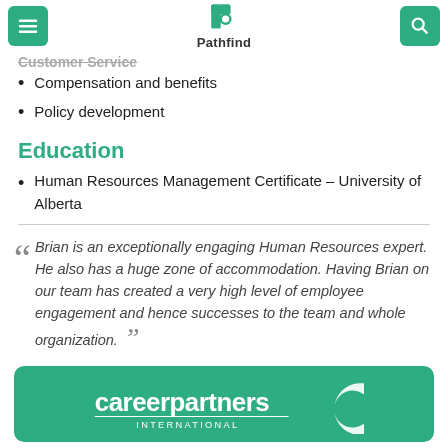Pathfind
Compensation and benefits
Policy development
Education
Human Resources Management Certificate – University of Alberta
Brian is an exceptionally engaging Human Resources expert. He also has a huge zone of accommodation. Having Brian on our team has created a very high level of employee engagement and hence successes to the team and whole organization.
[Figure (logo): Career Partners International logo on green rounded rectangle background]